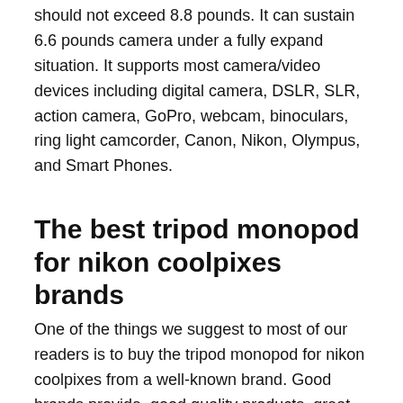should not exceed 8.8 pounds. It can sustain 6.6 pounds camera under a fully expand situation. It supports most camera/video devices including digital camera, DSLR, SLR, action camera, GoPro, webcam, binoculars, ring light camcorder, Canon, Nikon, Olympus, and Smart Phones.
The best tripod monopod for nikon coolpixes brands
One of the things we suggest to most of our readers is to buy the tripod monopod for nikon coolpixes from a well-known brand. Good brands provide, good quality products, great customer support, and have service centers in different places around the country. Regarding the tripod monopod for nikon coolpixes I have a preference for the products of the brands listed below.